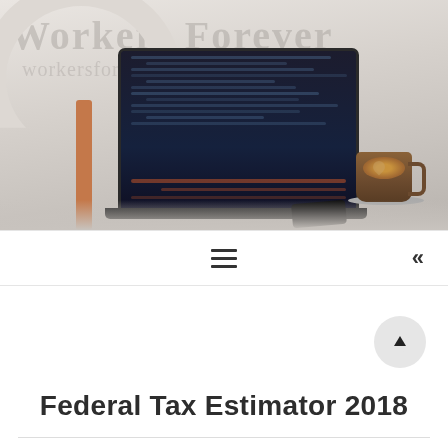[Figure (photo): Laptop on a desk with code on screen, next to a coffee cup with latte art, a phone, and a white chair in the background. Watermark text 'Workers Forever' visible in background.]
[Figure (infographic): Navigation bar with hamburger menu icon on center and double left-arrow (back) icon on right, plus a circular up-arrow button below]
Federal Tax Estimator 2018